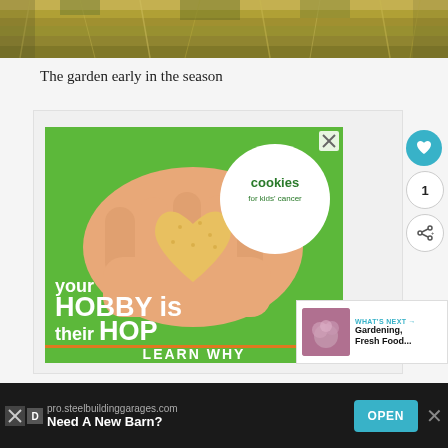[Figure (photo): Top portion of a garden photo showing dry golden-brown grass/hay]
The garden early in the season
[Figure (infographic): Cookies for Kids Cancer advertisement on green background showing heart-shaped cookie held in hands with text 'your HOBBY is their HOPE' and 'LEARN WHY']
[Figure (infographic): What's Next panel showing Gardening, Fresh Food thumbnail with flower image]
[Figure (infographic): Bottom banner ad for pro.steelbuildinggarages.com reading 'Need A New Barn?' with OPEN button]